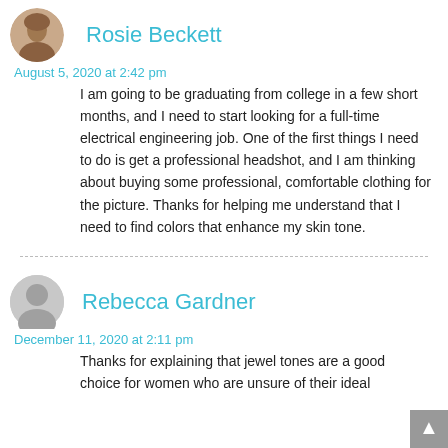[Figure (photo): Small circular profile photo of Rosie Beckett showing a woman with light hair]
Rosie Beckett
August 5, 2020 at 2:42 pm
I am going to be graduating from college in a few short months, and I need to start looking for a full-time electrical engineering job. One of the first things I need to do is get a professional headshot, and I am thinking about buying some professional, comfortable clothing for the picture. Thanks for helping me understand that I need to find colors that enhance my skin tone.
[Figure (illustration): Generic gray circular user avatar icon for Rebecca Gardner]
Rebecca Gardner
December 11, 2020 at 2:11 pm
Thanks for explaining that jewel tones are a good choice for women who are unsure of their ideal